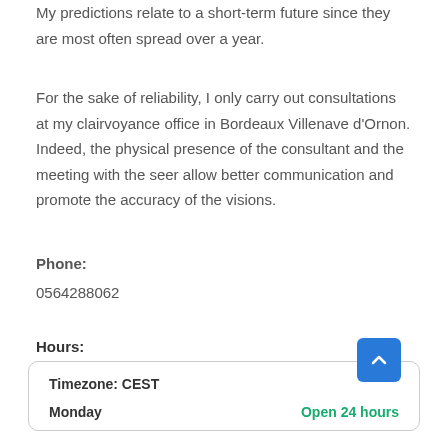My predictions relate to a short-term future since they are most often spread over a year.
For the sake of reliability, I only carry out consultations at my clairvoyance office in Bordeaux Villenave d'Ornon. Indeed, the physical presence of the consultant and the meeting with the seer allow better communication and promote the accuracy of the visions.
Phone:
0564288062
Hours:
| Timezone: CEST |
| Monday | Open 24 hours |